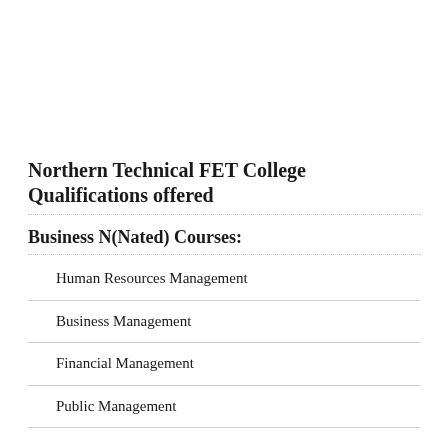Northern Technical FET College Qualifications offered
Business N(Nated) Courses:
Human Resources Management
Business Management
Financial Management
Public Management